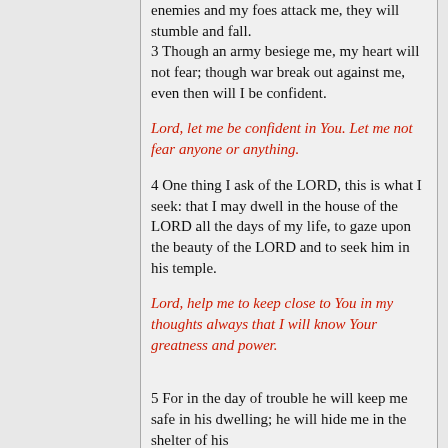enemies and my foes attack me, they will stumble and fall. 3 Though an army besiege me, my heart will not fear; though war break out against me, even then will I be confident.
Lord, let me be confident in You. Let me not fear anyone or anything.
4 One thing I ask of the LORD, this is what I seek: that I may dwell in the house of the LORD all the days of my life, to gaze upon the beauty of the LORD and to seek him in his temple.
Lord, help me to keep close to You in my thoughts always that I will know Your greatness and power.
5 For in the day of trouble he will keep me safe in his dwelling; he will hide me in the shelter of his